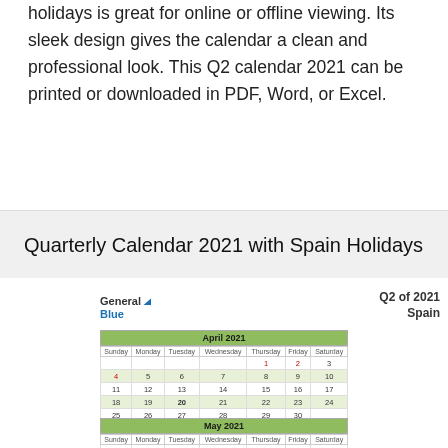holidays is great for online or offline viewing. Its sleek design gives the calendar a clean and professional look. This Q2 calendar 2021 can be printed or downloaded in PDF, Word, or Excel.
Quarterly Calendar 2021 with Spain Holidays
[Figure (other): Q2 2021 quarterly calendar for Spain showing April 2021 and May 2021 mini-calendars with General Blue branding. April calendar shows days with holiday markers in red. May 2021 calendar header and day labels visible at bottom.]